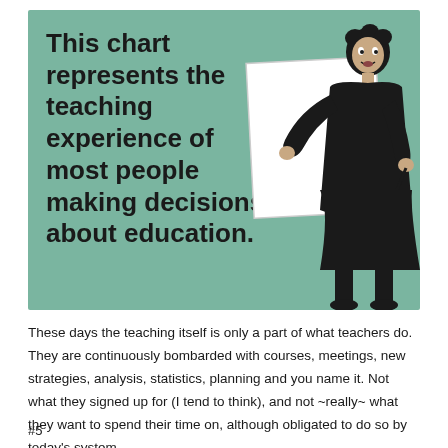[Figure (illustration): A teal/green background illustration showing a retro-style woman in black holding up a blank white chart/board, with text reading 'This chart represents the teaching experience of most people making decisions about education.' The chart is blank.]
These days the teaching itself is only a part of what teachers do. They are continuously bombarded with courses, meetings, new strategies, analysis, statistics, planning and you name it. Not what they signed up for (I tend to think), and not ~really~ what they want to spend their time on, although obligated to do so by today's system.
#5